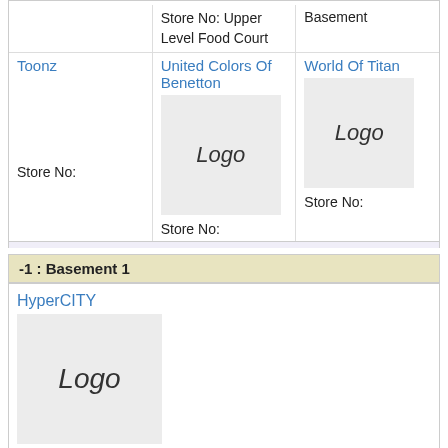Store No: Upper Level Food Court
Basement
Toonz
[Figure (logo): Logo placeholder for United Colors Of Benetton]
United Colors Of Benetton
[Figure (logo): Logo placeholder for World Of Titan]
World Of Titan
Store No:
Store No:
Store No:
-1 : Basement 1
HyperCITY
[Figure (logo): Logo placeholder for HyperCITY]
Store No: Upper Basement
0 : Ground Floor
108°F
Accessorize
ALDO